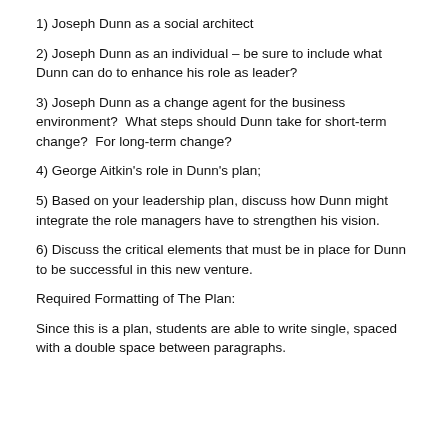1) Joseph Dunn as a social architect
2) Joseph Dunn as an individual – be sure to include what Dunn can do to enhance his role as leader?
3) Joseph Dunn as a change agent for the business environment?  What steps should Dunn take for short-term change?  For long-term change?
4) George Aitkin's role in Dunn's plan;
5) Based on your leadership plan, discuss how Dunn might integrate the role managers have to strengthen his vision.
6) Discuss the critical elements that must be in place for Dunn to be successful in this new venture.
Required Formatting of The Plan:
Since this is a plan, students are able to write single, spaced with a double space between paragraphs.